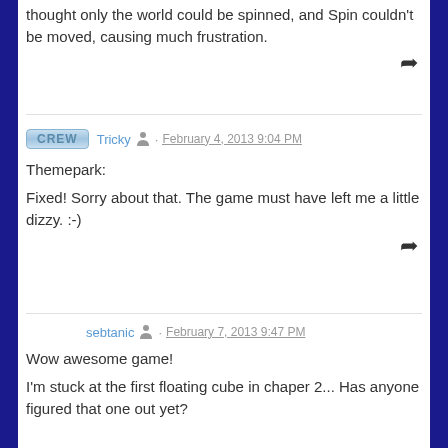thought only the world could be spinned, and Spin couldn't be moved, causing much frustration.
Tricky · February 4, 2013 9:04 PM
Themepark:
Fixed! Sorry about that. The game must have left me a little dizzy. :-)
sebtanic · February 7, 2013 9:47 PM
Wow awesome game!
I'm stuck at the first floating cube in chaper 2... Has anyone figured that one out yet?